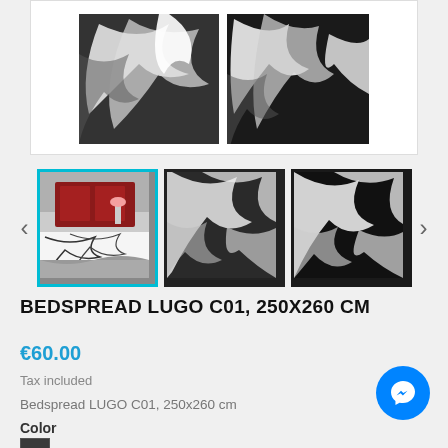[Figure (photo): Main product image area showing black and white bedspread with leaf pattern, two close-up views side by side]
[Figure (photo): Thumbnail gallery row with three product images: first (active/selected) shows bedspread on bed with red pillows, second and third show black and white leaf pattern close-ups. Navigation arrows on each side.]
BEDSPREAD LUGO C01, 250X260 CM
€60.00
Tax included
Bedspread LUGO C01, 250x260 cm
Color
[Figure (other): Dark gray/black color swatch square]